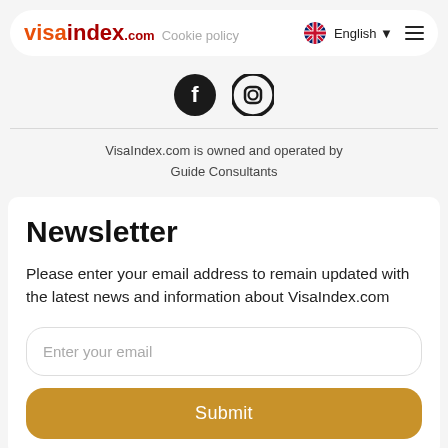visaindex.com  Cookie policy  English
[Figure (logo): Facebook and Instagram social media icons]
VisaIndex.com is owned and operated by Guide Consultants
Newsletter
Please enter your email address to remain updated with the latest news and information about VisaIndex.com
Enter your email
Submit